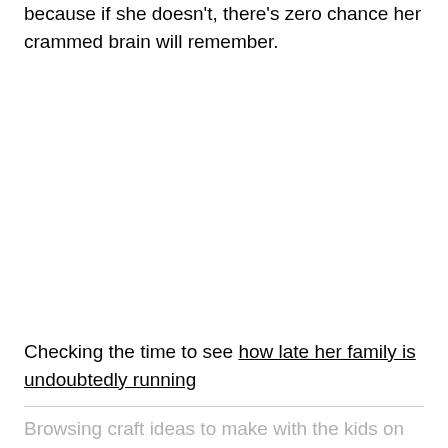because if she doesn't, there's zero chance her crammed brain will remember.
Checking the time to see how late her family is undoubtedly running
Browsing craft ideas to make with the kids on the